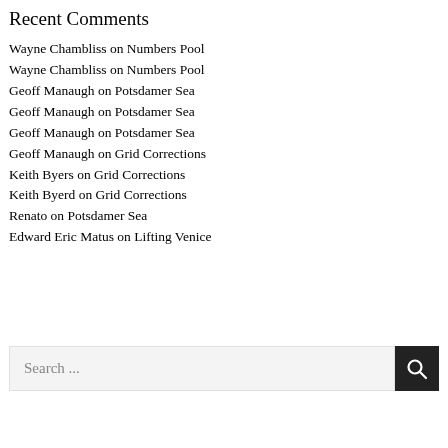Recent Comments
Wayne Chambliss on Numbers Pool
Wayne Chambliss on Numbers Pool
Geoff Manaugh on Potsdamer Sea
Geoff Manaugh on Potsdamer Sea
Geoff Manaugh on Potsdamer Sea
Geoff Manaugh on Grid Corrections
Keith Byers on Grid Corrections
Keith Byerd on Grid Corrections
Renato on Potsdamer Sea
Edward Eric Matus on Lifting Venice
Search ...